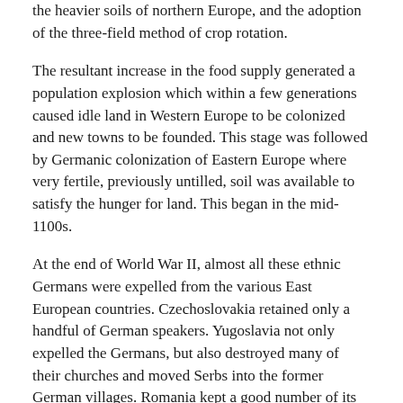the heavier soils of northern Europe, and the adoption of the three-field method of crop rotation.
The resultant increase in the food supply generated a population explosion which within a few generations caused idle land in Western Europe to be colonized and new towns to be founded. This stage was followed by Germanic colonization of Eastern Europe where very fertile, previously untilled, soil was available to satisfy the hunger for land. This began in the mid-1100s.
At the end of World War II, almost all these ethnic Germans were expelled from the various East European countries. Czechoslovakia retained only a handful of German speakers. Yugoslavia not only expelled the Germans, but also destroyed many of their churches and moved Serbs into the former German villages. Romania kept a good number of its Germans.
Poland, of course, expelled Germans from the former provinces of Posen, Pommern, Ostbrandenburg, etc. These Germans, with the support of the West German government, founded homeland